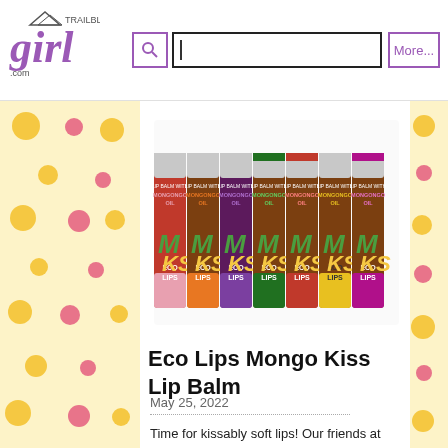TRAILBLAZER girl .com — search bar — More...
[Figure (photo): Seven Eco Lips Mongo Kiss Lip Balm tubes in various colors (pink, orange, brown, green, red, yellow, purple) standing upright, each labeled with MONGO KISS and ECO LIPS branding with Mongongo Oil.]
Eco Lips Mongo Kiss Lip Balm
May 25, 2022
Time for kissably soft lips! Our friends at Eco